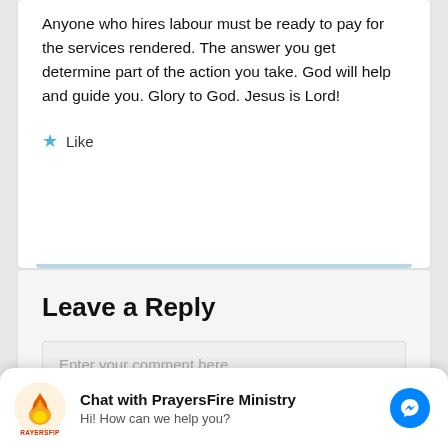Anyone who hires labour must be ready to pay for the services rendered. The answer you get determine part of the action you take. God will help and guide you. Glory to God. Jesus is Lord!
★ Like
Leave a Reply
Enter your comment here...
[Figure (logo): PrayersFire Ministry logo with flame icon and chat widget showing 'Chat with PrayersFire Ministry' and 'Hi! How can we help you?' with Facebook Messenger button]